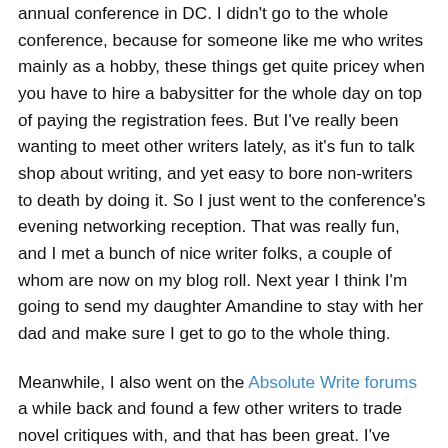annual conference in DC. I didn't go to the whole conference, because for someone like me who writes mainly as a hobby, these things get quite pricey when you have to hire a babysitter for the whole day on top of paying the registration fees. But I've really been wanting to meet other writers lately, as it's fun to talk shop about writing, and yet easy to bore non-writers to death by doing it. So I just went to the conference's evening networking reception. That was really fun, and I met a bunch of nice writer folks, a couple of whom are now on my blog roll. Next year I think I'm going to send my daughter Amandine to stay with her dad and make sure I get to go to the whole thing.
Meanwhile, I also went on the Absolute Write forums a while back and found a few other writers to trade novel critiques with, and that has been great. I've received some